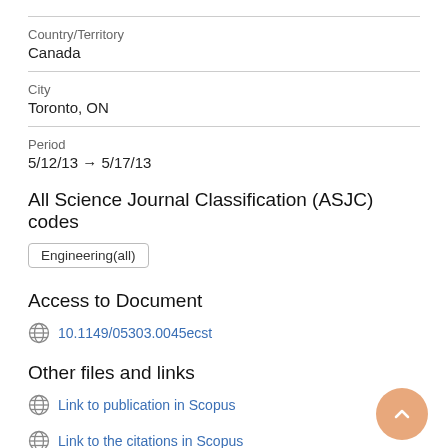Country/Territory
Canada
City
Toronto, ON
Period
5/12/13 → 5/17/13
All Science Journal Classification (ASJC) codes
Engineering(all)
Access to Document
10.1149/05303.0045ecst
Other files and links
Link to publication in Scopus
Link to the citations in Scopus